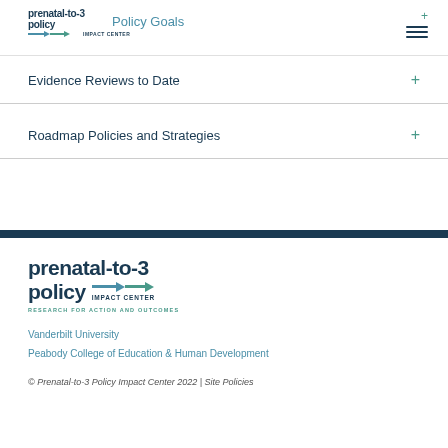prenatal-to-3 policy IMPACT CENTER | Policy Goals
Evidence Reviews to Date +
Roadmap Policies and Strategies +
[Figure (logo): Prenatal-to-3 Policy Impact Center logo with tagline RESEARCH FOR ACTION AND OUTCOMES]
Vanderbilt University
Peabody College of Education & Human Development
© Prenatal-to-3 Policy Impact Center 2022 | Site Policies